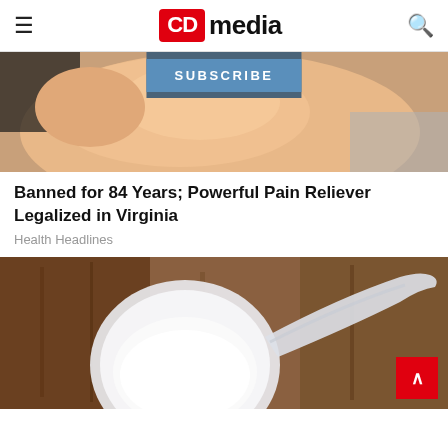CD media
SUBSCRIBE
[Figure (photo): Close-up photo of a hand holding something small, with skin visible against a dark background]
Banned for 84 Years; Powerful Pain Reliever Legalized in Virginia
Health Headlines
[Figure (photo): A clear plastic measuring scoop filled with white powder, resting on a wooden table surface]